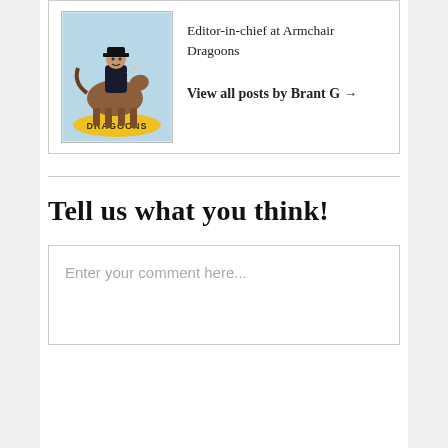[Figure (illustration): Armchair Dragoons logo: a cartoon soldier on horseback with 'DRAGOONS' text on a banner below, on a light blue background]
Editor-in-chief at Armchair Dragoons
View all posts by Brant G →
Tell us what you think!
Enter your comment here...